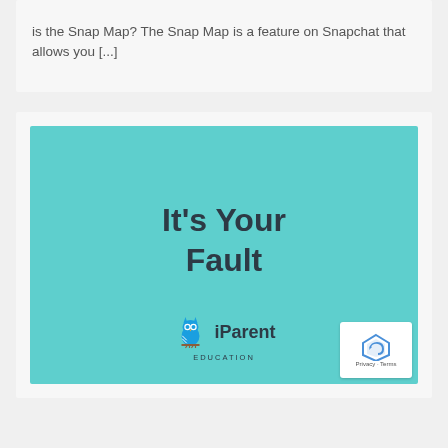is the Snap Map? The Snap Map is a feature on Snapchat that allows you [...]
[Figure (illustration): Teal/turquoise card with bold dark text reading 'It's Your Fault' and iParent Education logo with owl icon at the bottom center]